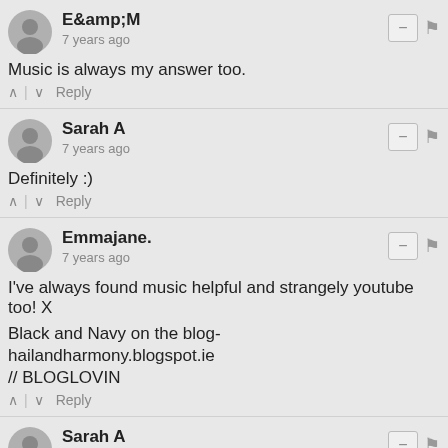E&M • 7 years ago
Music is always my answer too.
^ | v   Reply
Sarah A • 7 years ago
Definitely :)
^ | v   Reply
Emmajane. • 7 years ago
I've always found music helpful and strangely youtube too! X

Black and Navy on the blog-
hailandharmony.blogspot.ie
// BLOGLOVIN
^ | v   Reply
Sarah A • 7 years ago
I am really happy that you found this helpful :)